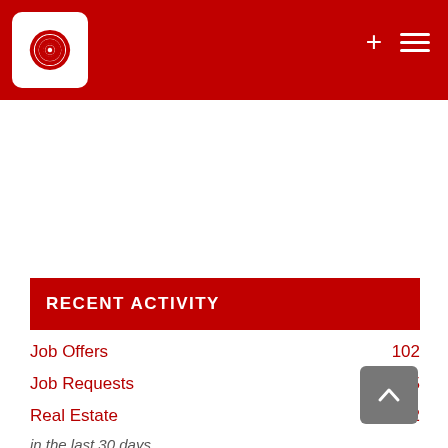[Figure (logo): Red header bar with white spiral logo in a white rounded square, plus icon and hamburger menu icon on the right]
RECENT ACTIVITY
Job Offers  102
Job Requests  65
Real Estate  2
in the last 30 days